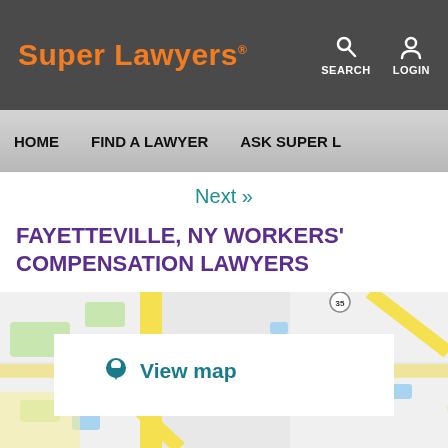Super Lawyers® | SEARCH | LOGIN
HOME | FIND A LAWYER | ASK SUPER L...
Next »
FAYETTEVILLE, NY WORKERS' COMPENSATION LAWYERS
[Figure (map): Google Maps view of Fayetteville, NY area showing roads and geographic features with a 'View map' overlay button in the center.]